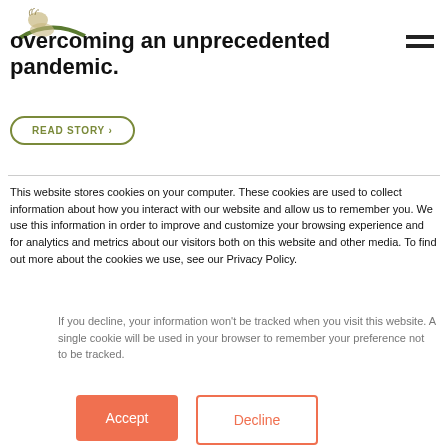[Figure (logo): Organization logo with bird/peacock and green arch design]
overcoming an unprecedented pandemic.
READ STORY >
This website stores cookies on your computer. These cookies are used to collect information about how you interact with our website and allow us to remember you. We use this information in order to improve and customize your browsing experience and for analytics and metrics about our visitors both on this website and other media. To find out more about the cookies we use, see our Privacy Policy.
If you decline, your information won't be tracked when you visit this website. A single cookie will be used in your browser to remember your preference not to be tracked.
Accept
Decline